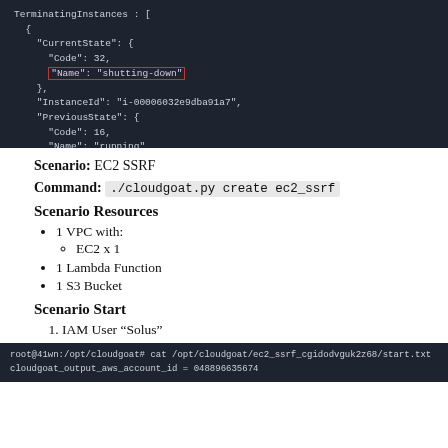[Figure (screenshot): Dark-themed terminal/code output showing JSON with TerminatingInstances block. CurrentState has Code: 32, Name: 'shutting-down' (highlighted in red box). InstanceId: 'i-00006032e9dba91a7'. PreviousState has Code: 16, Name: 'running'.]
Scenario: EC2 SSRF
Command: ./cloudgoat.py create ec2_ssrf
Scenario Resources
1 VPC with:
EC2 x 1
1 Lambda Function
1 S3 Bucket
Scenario Start
IAM User "Solus"
[Figure (screenshot): Dark terminal showing: root@41wn:/opt/cloudgoat# cat /opt/cloudgoat/ec2_ssrf_cgidodvguk2z68/start.txt
cloudgoat_output_aws_account_id = 048896635674]